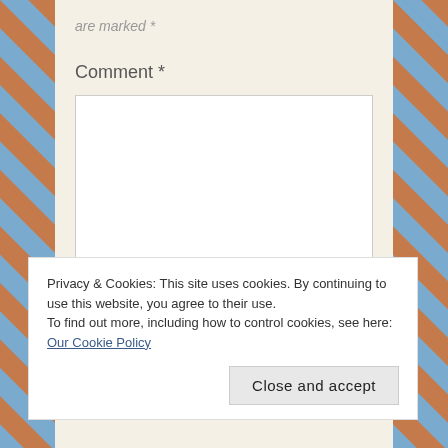are marked *
Comment *
Privacy & Cookies: This site uses cookies. By continuing to use this website, you agree to their use.
To find out more, including how to control cookies, see here: Our Cookie Policy
Close and accept